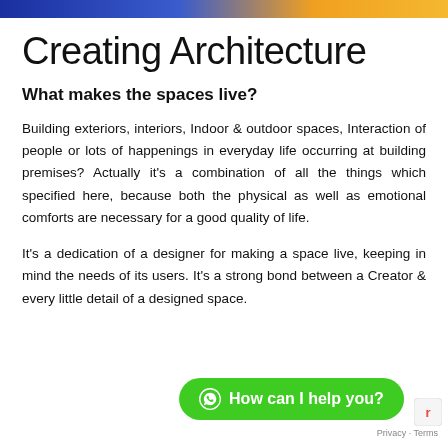Creating Architecture
What makes the spaces live?
Building exteriors, interiors, Indoor & outdoor spaces, Interaction of people or lots of happenings in everyday life occurring at building premises? Actually it's a combination of all the things which specified here, because both the physical as well as emotional comforts are necessary for a good quality of life.
It's a dedication of a designer for making a space live, keeping in mind the needs of its users. It's a strong bond between a Creator & every little detail of a designed space.
[Figure (other): Green WhatsApp chat button overlay with text 'How can I help you?']